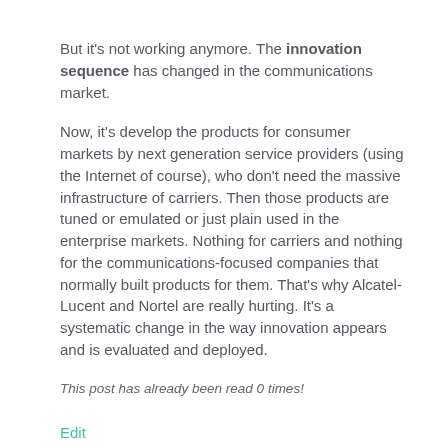But it's not working anymore. The innovation sequence has changed in the communications market.
Now, it's develop the products for consumer markets by next generation service providers (using the Internet of course), who don't need the massive infrastructure of carriers. Then those products are tuned or emulated or just plain used in the enterprise markets. Nothing for carriers and nothing for the communications-focused companies that normally built products for them. That's why Alcatel-Lucent and Nortel are really hurting. It's a systematic change in the way innovation appears and is evaluated and deployed.
This post has already been read 0 times!
Edit